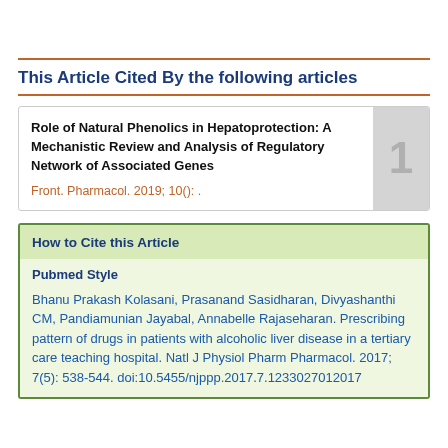This Article Cited By the following articles
Role of Natural Phenolics in Hepatoprotection: A Mechanistic Review and Analysis of Regulatory Network of Associated Genes
Front. Pharmacol. 2019; 10(): .
How to Cite this Article
Pubmed Style
Bhanu Prakash Kolasani, Prasanand Sasidharan, Divyashanthi CM, Pandiamunian Jayabal, Annabelle Rajaseharan. Prescribing pattern of drugs in patients with alcoholic liver disease in a tertiary care teaching hospital. Natl J Physiol Pharm Pharmacol. 2017; 7(5): 538-544. doi:10.5455/njppp.2017.7.1233027012017